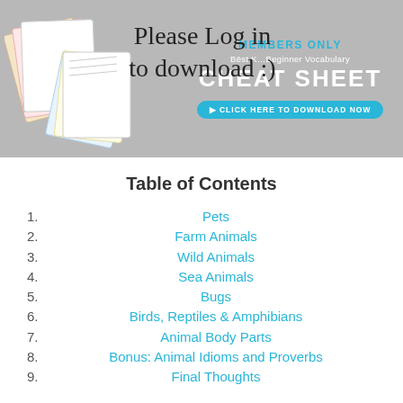[Figure (screenshot): Gray banner with 'Please Log in to download :)' handwritten text overlay, 'MEMBERS ONLY' header in cyan, 'CHEAT SHEET' in white bold text, and a cyan download button. Left side shows fanned worksheet papers.]
Table of Contents
1. Pets
2. Farm Animals
3. Wild Animals
4. Sea Animals
5. Bugs
6. Birds, Reptiles & Amphibians
7. Animal Body Parts
8. Bonus: Animal Idioms and Proverbs
9. Final Thoughts